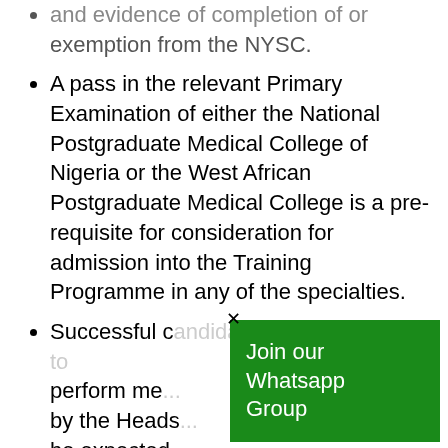and evidence of completion of or exemption from the NYSC.
A pass in the relevant Primary Examination of either the National Postgraduate Medical College of Nigeria or the West African Postgraduate Medical College is a pre-requisite for consideration for admission into the Training Programme in any of the specialties.
Successful candidates will be required to perform me... by the Heads... be expected... activities of their departments and exhibit a very high degree of devotion to duty.
[Figure (screenshot): Green popup overlay with close X button showing 'Join our Whatsapp Group' text on green background]